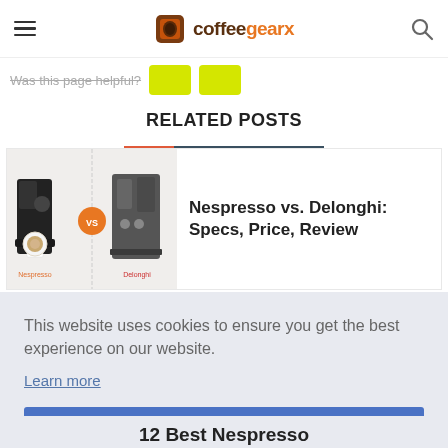coffeegearx
Was this page helpful?
RELATED POSTS
[Figure (photo): Nespresso vs Delonghi espresso machines side by side with 'vs' badge]
Nespresso vs. Delonghi: Specs, Price, Review
This website uses cookies to ensure you get the best experience on our website. Learn more
Got it!
12 Best Nespresso